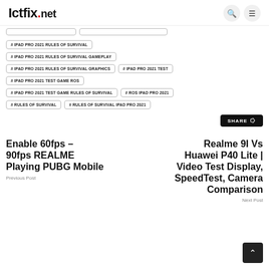Ictfix.net
# IPAD PRO 2021 RULES OF SURVIVAL
# IPAD PRO 2021 RULES OF SURVIVAL GAMEPLAY
# IPAD PRO 2021 RULES OF SURVIVAL GRAPHICS
# IPAD PRO 2021 TEST
# IPAD PRO 2021 TEST GAME ROS
# IPAD PRO 2021 TEST GAME RULES OF SURVIVAL
# ROS IPAD PRO 2021
# RULES OF SURVIVAL
# RULES OF SURVIVAL IPAD PRO 2021
SHARE
Enable 60fps - 90fps REALME Playing PUBG Mobile
Previous Post
Realme 9I Vs Huawei P40 Lite | Video Test Display, SpeedTest, Camera Comparison
Next Post